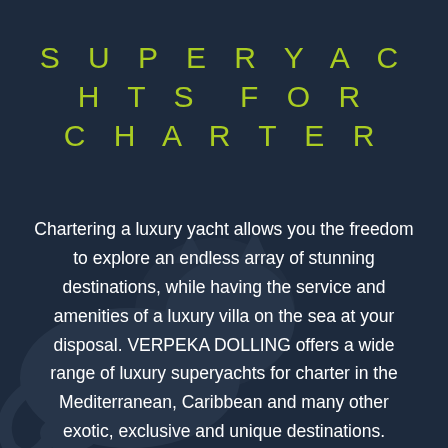SUPERYACHTS FOR CHARTER
Chartering a luxury yacht allows you the freedom to explore an endless array of stunning destinations, while having the service and amenities of a luxury villa on the sea at your disposal. VERPEKA DOLLING offers a wide range of luxury superyachts for charter in the Mediterranean, Caribbean and many other exotic, exclusive and unique destinations.